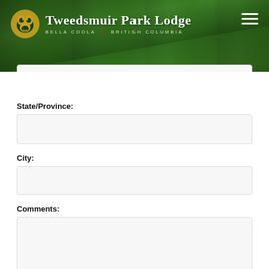[Figure (photo): Tweedsmuir Park Lodge header banner with forest background. Logo with bear/indigenous art icon on left, 'Tweedsmuir Park Lodge' text with 'Bella Coola - British Columbia' subtitle. Hamburger menu icon on right.]
State/Province:
City:
Comments: